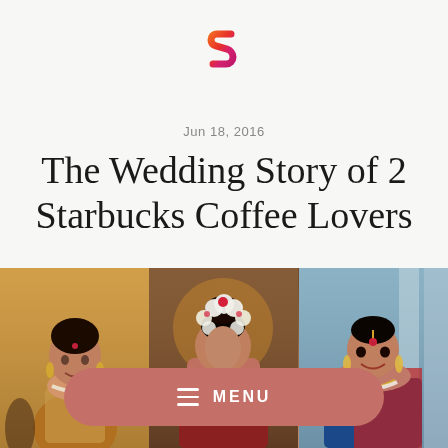[Figure (logo): Stylized S logo with orange-red gradient on light gray background]
Jun 18, 2016
The Wedding Story of 2 Starbucks Coffee Lovers
[Figure (photo): Three side-by-side photos of an Indian bride in traditional South Indian bridal attire — left photo shows bride smiling in yellow-gold setting, center photo shows bride from behind with floral hair decoration, right photo shows bride smiling in blue and red silk saree with gold jewelry]
≡  MENU